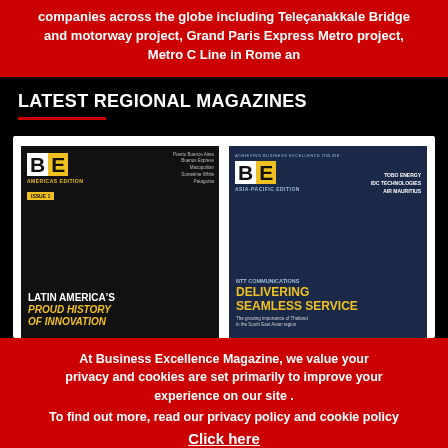companies across the globe including Teleçanakkale Bridge and motorway project, Grand Paris Express Metro project, Metro C Line in Rome an
LATEST REGIONAL MAGAZINES
[Figure (photo): Two BE magazine covers side by side: left is Americas Edition featuring Latin America's Proud History of Innovation; right is Asia-Pacific Edition featuring NTT Communications Delivering Seamless Service]
At Business Excellence Magazine, we value your privacy and cookies are set primarily to improve your experience on our site .
To find out more, read our privacy policy and cookie policy
Click here
Accept